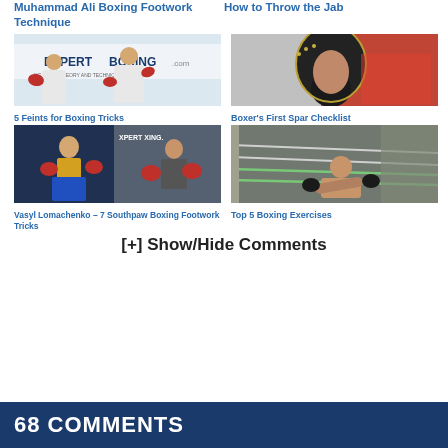Muhammad Ali Boxing Footwork Technique
How to Throw the Jab
[Figure (photo): ExpertBoxing.com boxing trainer with red gloves in front of banner]
[Figure (photo): Boxer wearing black head gear, close-up side view]
5 Feints for Boxing Tricks
Boxer's First Spar Checklist
[Figure (photo): Vasyl Lomachenko and ExpertBoxing trainer composite photo]
[Figure (photo): Boxer sitting in corner of boxing ring]
Vasyl Lomachenko – 7 Southpaw Boxing Footwork Tricks
Top 5 Boxing Exercises
[+] Show/Hide Comments
68 COMMENTS